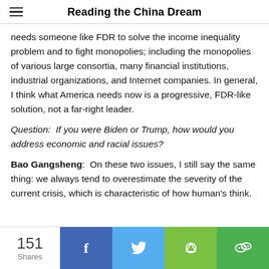Reading the China Dream
needs someone like FDR to solve the income inequality problem and to fight monopolies; including the monopolies of various large consortia, many financial institutions, industrial organizations, and Internet companies. In general, I think what America needs now is a progressive, FDR-like solution, not a far-right leader.
Question:  If you were Biden or Trump, how would you address economic and racial issues?
Bao Gangsheng:  On these two issues, I still say the same thing: we always tend to overestimate the severity of the current crisis, which is characteristic of how human's think.
151 Shares — Facebook, Twitter, Share, WeChat